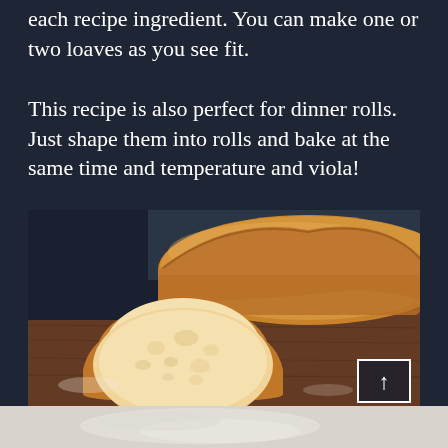each recipe ingredient. You can make one or two loaves as you see fit.
This recipe is also perfect for dinner rolls. Just shape them into rolls and bake at the same time and temperature and viola!
[Figure (photo): A sliced white bread loaf on a wooden cutting board, showing the soft interior crumb and golden crust. A scroll-to-top arrow button is visible in the bottom right corner of the image.]
[Figure (photo): Partial view of what appears to be flour or dough on a light surface, visible at the very bottom of the page.]